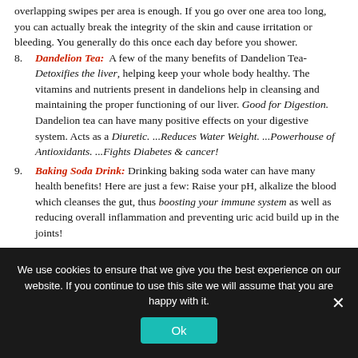overlapping swipes per area is enough. If you go over one area too long, you can actually break the integrity of the skin and cause irritation or bleeding. You generally do this once each day before you shower.
Dandelion Tea: A few of the many benefits of Dandelion Tea- Detoxifies the liver, helping keep your whole body healthy. The vitamins and nutrients present in dandelions help in cleansing and maintaining the proper functioning of our liver. Good for Digestion. Dandelion tea can have many positive effects on your digestive system. Acts as a Diuretic. ...Reduces Water Weight. ...Powerhouse of Antioxidants. ...Fights Diabetes & cancer!
Baking Soda Drink: Drinking baking soda water can have many health benefits! Here are just a few: Raise your pH, alkalize the blood which cleanses the gut, thus boosting your immune system as well as reducing overall inflammation and preventing uric acid build up in the joints!
We use cookies to ensure that we give you the best experience on our website. If you continue to use this site we will assume that you are happy with it.